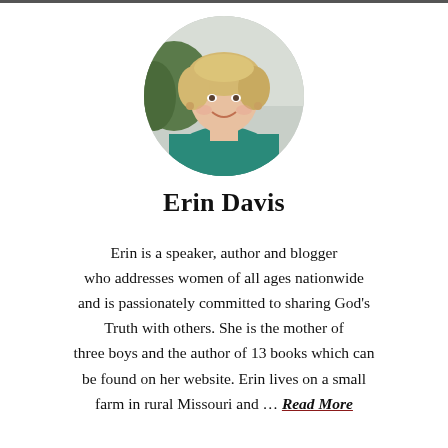[Figure (photo): Circular portrait photo of Erin Davis, a woman with short blonde hair wearing a teal/green top, smiling, photographed outdoors.]
Erin Davis
Erin is a speaker, author and blogger who addresses women of all ages nationwide and is passionately committed to sharing God's Truth with others. She is the mother of three boys and the author of 13 books which can be found on her website. Erin lives on a small farm in rural Missouri and … Read More